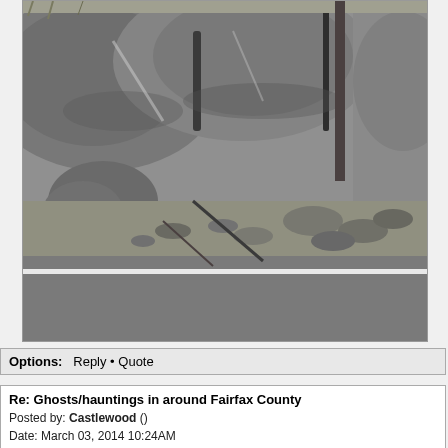[Figure (photo): Black and white photograph showing a rocky outcrop or stone wall with large boulders and smaller scattered rocks along the base, with a road and white dividing line visible in the foreground. Dry grass and sparse vegetation visible among the rocks.]
Options:  Reply • Quote
Re: Ghosts/hauntings in around Fairfax County
Posted by: Castlewood ()
Date: March 03, 2014 10:24AM